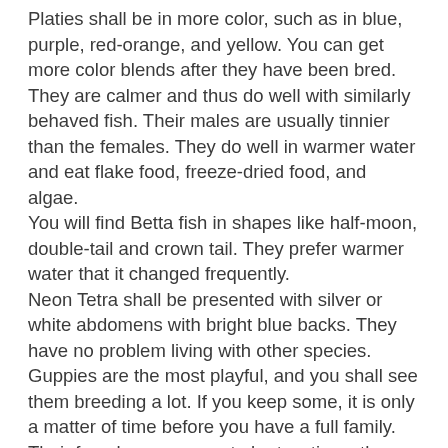Platies shall be in more color, such as in blue, purple, red-orange, and yellow. You can get more color blends after they have been bred. They are calmer and thus do well with similarly behaved fish. Their males are usually tinnier than the females. They do well in warmer water and eat flake food, freeze-dried food, and algae.
You will find Betta fish in shapes like half-moon, double-tail and crown tail. They prefer warmer water that it changed frequently.
Neon Tetra shall be presented with silver or white abdomens with bright blue backs. They have no problem living with other species.
Guppies are the most playful, and you shall see them breeding a lot. If you keep some, it is only a matter of time before you have a full family. Their females may grow to be two times the size of the males. The males are however the brighter colored ones.
Rainbow fish have the colors moisture their names suggest. They appear even more colorful once they settle in the aquarium. They are passive, and shall live well among similarly disposed species.
Glofish are like Danios, save for their neon shine. They are